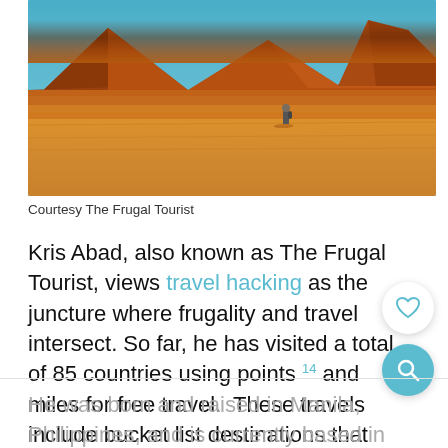[Figure (photo): A lone person standing in a vast orange desert landscape with reddish-brown mountains in the background under a clear blue sky.]
Courtesy The Frugal Tourist
Kris Abad, also known as The Frugal Tourist, views travel hacking as the juncture where frugality and travel intersect. So far, he has visited a total of 85 countries using points 14 and miles for free travel.  These travels include bucket list destinations that he couldn't afford otherwise.
He was born and raised in Manila, Philippines, and is currently based in the San